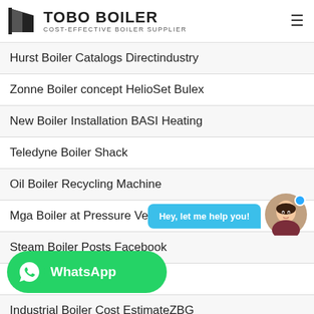[Figure (logo): Tobo Boiler logo with icon and text 'TOBO BOILER' and subtitle 'COST-EFFECTIVE BOILER SUPPLIER']
Hurst Boiler Catalogs Directindustry
Zonne Boiler concept HelioSet Bulex
New Boiler Installation BASI Heating
Teledyne Boiler Shack
Oil Boiler Recycling Machine
Mga Boiler at Pressure Vessels Musyana
Steam Boiler Posts Facebook
TER Boiler makersorg
Industrial Boiler Cost EstimateZBG
[Figure (screenshot): Chat help bubble saying 'Hey, let me help you!' with avatar of a woman]
[Figure (logo): WhatsApp button in green with WhatsApp icon and label 'WhatsApp']